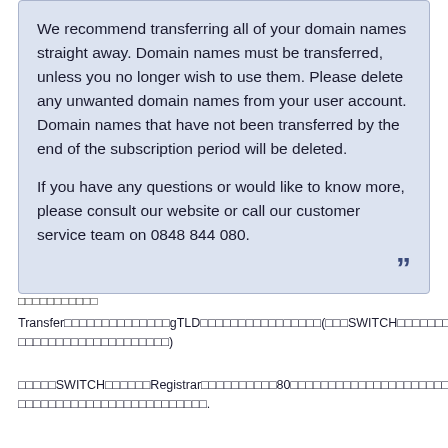We recommend transferring all of your domain names straight away. Domain names must be transferred, unless you no longer wish to use them. Please delete any unwanted domain names from your user account. Domain names that have not been transferred by the end of the subscription period will be deleted.

If you have any questions or would like to know more, please consult our website or call our customer service team on 0848 844 080.
□□□□□□□□□□□
Transfer□□□□□□□□□□□□□□gTLD□□□□□□□□□□□□□□□□(□□□SWITCH□□□□□□□□□□□□□□□□□□□□□□□□□□)
□□□□□SWITCH□□□□□□Registrar□□□□□□□□□□80□□□□□□□□□□□□□□□□□□□□□□□□□□□□□□□□□□□□□□□□□□□□□□□□□□□